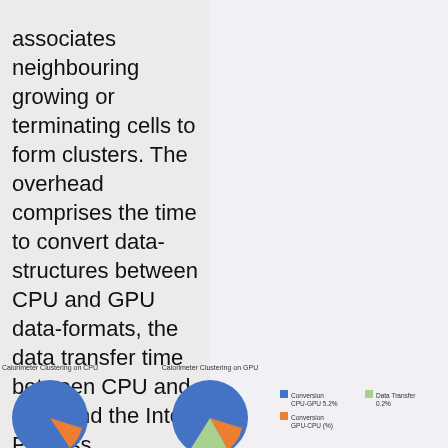associates neighbouring growing or terminating cells to form clusters. The overhead comprises the time to convert data-structures between CPU and GPU data-formats, the data transfer time between CPU and GPU and the Inter Process Communication (IPC) time that accounts for the transfer of
[Figure (pie-chart): Partial view of pie charts showing Calorimeter Clustering on CPU and Calorimeter Clustering on GPU, with a legend showing Conversion CPU-GPU 5.2%, Conversion GPU-CPU (%), Data Transfer 0.2%]